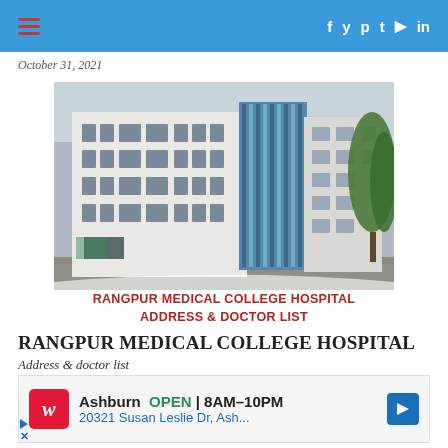≡  f y p t ▶ in
October 31, 2021
[Figure (photo): Exterior photograph of Rangpur Medical College Hospital building — a multi-storey white building with blue vertical louvers on the center section and trees visible on the right. Watermark: WWW.THEHOSPITALINFO.COM]
RANGPUR MEDICAL COLLEGE HOSPITAL ADDRESS & DOCTOR LIST
RANGPUR MEDICAL COLLEGE HOSPITAL
Address & doctor list
[Figure (screenshot): Advertisement banner: Walgreens logo. Ashburn OPEN 8AM–10PM. 20321 Susan Leslie Dr, Ash... with blue navigation arrow icon.]